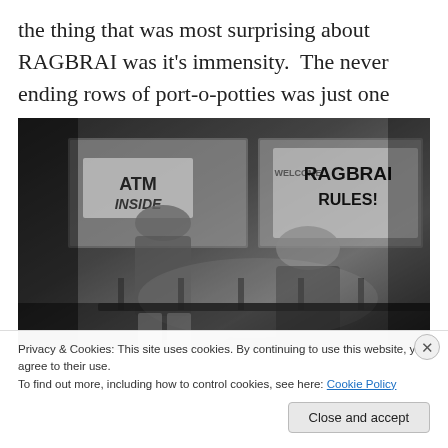the thing that was most surprising about RAGBRAI was it's immensity.  The never ending rows of port-o-potties was just one example of this
[Figure (photo): Black and white photo of two people standing in front of a brick building with windows showing signs reading 'ATM INSIDE' and 'WELCOME RAGBRAI RULES!']
Privacy & Cookies: This site uses cookies. By continuing to use this website, you agree to their use.
To find out more, including how to control cookies, see here: Cookie Policy
Close and accept